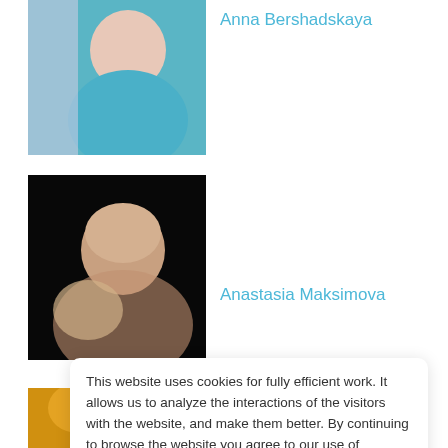[Figure (photo): Photo of Anna Bershadskaya, a woman in a teal top with jewelry, upper body portrait]
Anna Bershadskaya
[Figure (photo): Photo of Anastasia Maksimova, a blonde woman with an updo hairstyle against a dark background, shoulder portrait]
Anastasia Maksimova
[Figure (photo): Partial photo at bottom, appears to show warm golden/orange tones, partially cropped]
This website uses cookies for fully efficient work. It allows us to analyze the interactions of the visitors with the website, and make them better. By continuing to browse the website you agree to our use of cookies.
Accept